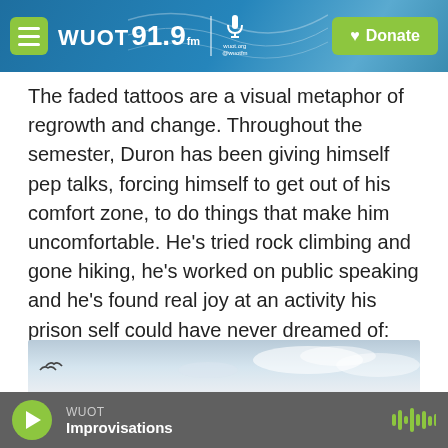WUOT 91.9 FM | Donate
The faded tattoos are a visual metaphor of regrowth and change. Throughout the semester, Duron has been giving himself pep talks, forcing himself to get out of his comfort zone, to do things that make him uncomfortable. He's tried rock climbing and gone hiking, he's worked on public speaking and he's found real joy at an activity his prison self could have never dreamed of: ballroom dancing.
[Figure (photo): Partial outdoor sky photograph showing clouds and a bird silhouette]
WUOT — Improvisations